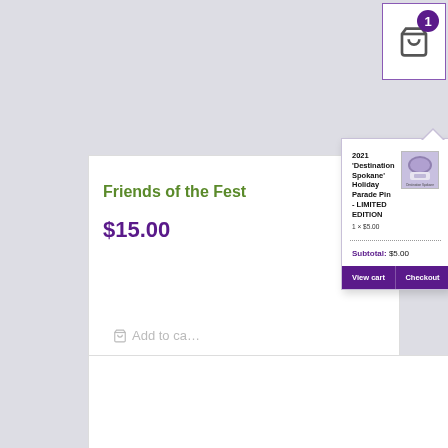[Figure (screenshot): E-commerce shopping cart icon with badge showing 1 item in top right corner]
Friends of the Fest
$15.00
Add to cart
[Figure (screenshot): Cart popup/dropdown showing item: 2021 'Destination Spokane' Holiday Parade Pin - LIMITED EDITION, 1 x $5.00, Subtotal: $5.00, with View cart and Checkout buttons]
2021 'Destination Spokane' Holiday Parade Pin - LIMITED EDITION
1 × $5.00
Subtotal: $5.00
View cart
Checkout